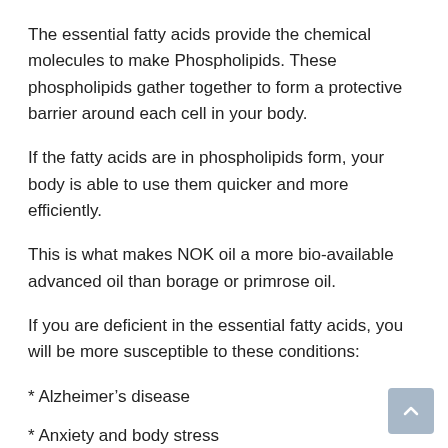The essential fatty acids provide the chemical molecules to make Phospholipids. These phospholipids gather together to form a protective barrier around each cell in your body.
If the fatty acids are in phospholipids form, your body is able to use them quicker and more efficiently.
This is what makes NOK oil a more bio-available advanced oil than borage or primrose oil.
If you are deficient in the essential fatty acids, you will be more susceptible to these conditions:
* Alzheimer’s disease
* Anxiety and body stress
* Heart disease
* Attention deficit disorder